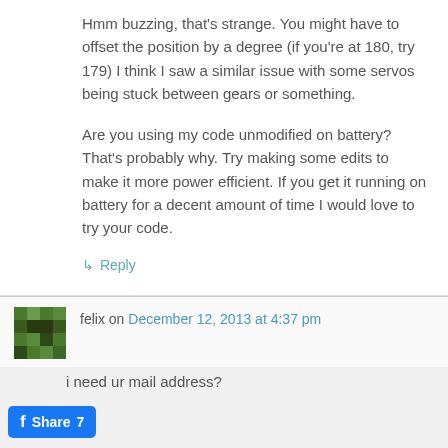Hmm buzzing, that's strange. You might have to offset the position by a degree (if you're at 180, try 179) I think I saw a similar issue with some servos being stuck between gears or something.

Are you using my code unmodified on battery? That's probably why. Try making some edits to make it more power efficient. If you get it running on battery for a decent amount of time I would love to try your code.
↳ Reply
felix on December 12, 2013 at 4:37 pm
i need ur mail address?